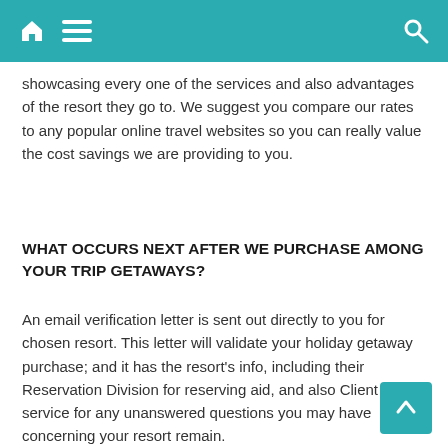showcasing every one of the services and also advantages of the resort they go to. We suggest you compare our rates to any popular online travel websites so you can really value the cost savings we are providing to you.
WHAT OCCURS NEXT AFTER WE PURCHASE AMONG YOUR TRIP GETAWAYS?
An email verification letter is sent out directly to you for chosen resort. This letter will validate your holiday getaway purchase; and it has the resort's info, including their Reservation Division for reserving aid, and also Client service for any unanswered questions you may have concerning your resort remain.